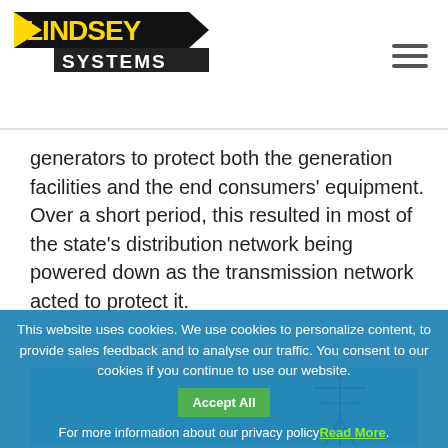Lindsey Systems [logo] [hamburger menu]
generators to protect both the generation facilities and the end consumers' equipment. Over a short period, this resulted in most of the state's distribution network being powered down as the transmission network acted to protect it.
[Figure (photo): Power transmission tower against a blue sky]
This website uses cookies. We use cookies to personalize content, to provide sales feedback and to analyse our traffic. You consent to our cookies if you continue to use our website. Accept All For more information about our privacy policy Read More.